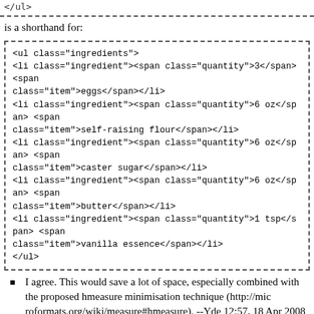</ul>
is a shorthand for:
<ul class="ingredients">
<li class="ingredient"><span class="quantity">3</span> <span class="item">eggs</span></li>
<li class="ingredient"><span class="quantity">6 oz</span> <span class="item">self-raising flour</span></li>
<li class="ingredient"><span class="quantity">6 oz</span> <span class="item">caster sugar</span></li>
<li class="ingredient"><span class="quantity">6 oz</span> <span class="item">butter</span></li>
<li class="ingredient"><span class="quantity">1 tsp</span> <span class="item">vanilla essence</span></li>
</ul>
I agree. This would save a lot of space, especially combined with the proposed hmeasure minimisation technique (http://microformats.org/wiki/measure#hmeasure). --Yde 12:57, 18 Apr 2008 (PDT)
Do we have ingredients (plural) as an element? Doesn't that open a whole can of list-issues? --ThomasLoertsch 15:37, 01 Oct 2008 (CET)
Problems with programatically marking up ingredients
While I understand the need for a item element within an